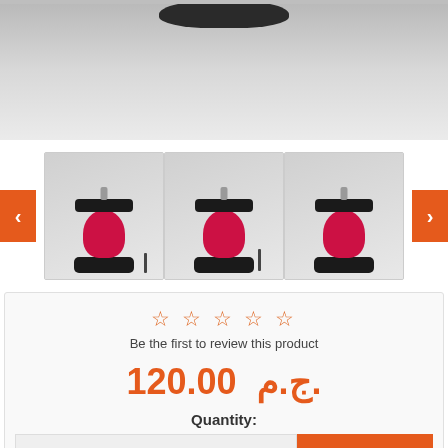[Figure (photo): Top portion of a decorative red glass lantern lamp against a light grey background, only the dark top rim visible]
[Figure (photo): Three thumbnail images of a red glass lantern lamp with black base and hat, shown from slightly different angles, with orange navigation arrows on left and right]
☆ ☆ ☆ ☆ ☆
Be the first to review this product
120.00 ج.م.
Quantity:
1
Add to cart